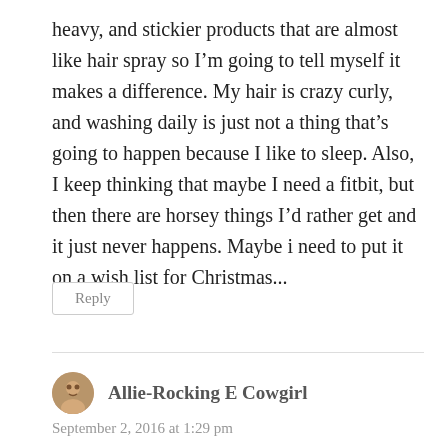heavy, and stickier products that are almost like hair spray so I'm going to tell myself it makes a difference. My hair is crazy curly, and washing daily is just not a thing that's going to happen because I like to sleep. Also, I keep thinking that maybe I need a fitbit, but then there are horsey things I'd rather get and it just never happens. Maybe i need to put it on a wish list for Christmas...
Reply
Allie-Rocking E Cowgirl
September 2, 2016 at 1:29 pm